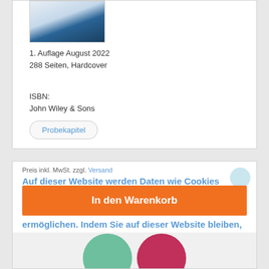[Figure (photo): Book cover image shown partially at top of card]
1. Auflage August 2022
288 Seiten, Hardcover
ISBN:
John Wiley & Sons
Probekapitel
Preis inkl. MwSt. zzgl. Versand
Auf dieser Website werden Daten wie Cookies gespeichert, um wichtige Funktionen der Website sowie Marketing, Personalisierung und Analyse zu ermöglichen. Indem Sie auf dieser Website bleiben, geben Sie Ihre Zustimmung.
In den Warenkorb
Datenschutz-Bestimmungen